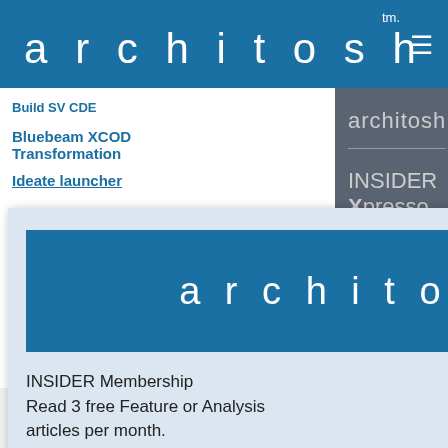architosh™ ≡
Build SV CDE
Bluebeam XCOD Transformation
Ideate launcher
architosh
INSIDER Xpresso
[Figure (screenshot): Modal popup with architosh logo and INSIDER Membership text. Contains: architosh logo banner in blue, 'INSIDER Membership', 'Read 3 free Feature or Analysis articles per month.', 'Or, subscribe now for unlimited full']
tter with a
h (AI,
g, AAD, AR,
ting, and
impact on
als.)
0 SHARES  f  🐦  ✉  P  +